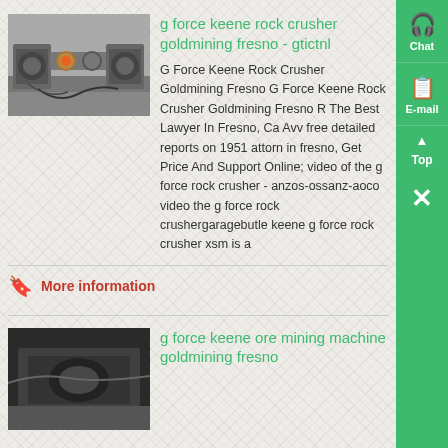[Figure (photo): Industrial rock crusher machine in a factory setting with metallic components and orange element visible]
g force keene rock crusher goldmining fresno - gtictnl
G Force Keene Rock Crusher Goldmining Fresno G Force Keene Rock Crusher Goldmining Fresno R The Best Lawyer In Fresno, Ca Avv free detailed reports on 1951 attorn in fresno, Get Price And Support Online; video of the g force rock crusher - anzos-ossanz-aoco video the g force rock crushergaragebutle keene g force rock crusher xsm is a
More information
[Figure (photo): Dark industrial mining machine or ore processing equipment]
g force keene ore mining machine goldmining fresno